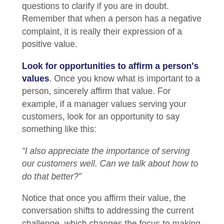questions to clarify if you are in doubt. Remember that when a person has a negative complaint, it is really their expression of a positive value.
Look for opportunities to affirm a person's values. Once you know what is important to a person, sincerely affirm that value. For example, if a manager values serving your customers, look for an opportunity to say something like this:
“I also appreciate the importance of serving our customers well. Can we talk about how to do that better?”
Notice that once you affirm their value, the conversation shifts to addressing the current challenge, which changes the focus to making vital improvements.
Look for opportunities to express appreciation. Look for opportunities to recognize what a person